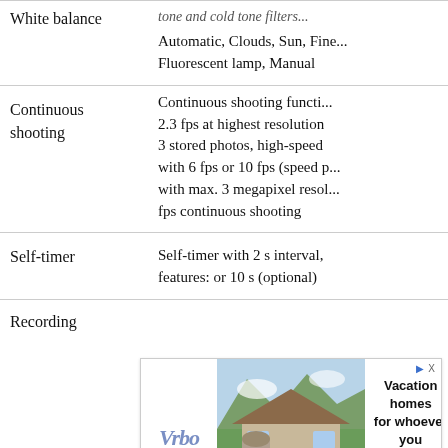| Feature | Description |
| --- | --- |
| White balance | Automatic, Clouds, Sun, Fine... Fluorescent lamp, Manual |
| Continuous shooting | Continuous shooting functi... 2.3 fps at highest resolution 3 stored photos, high-speed with 6 fps or 10 fps (speed p... with max. 3 megapixel resol... fps continuous shooting |
| Self-timer | Self-timer with 2 s interval, features: or 10 s (optional) |
| Recording |  |
[Figure (other): Vrbo vacation homes advertisement banner showing a mountain house, with text 'Vacation homes for whoever you call family' and a 'Find yours' button]